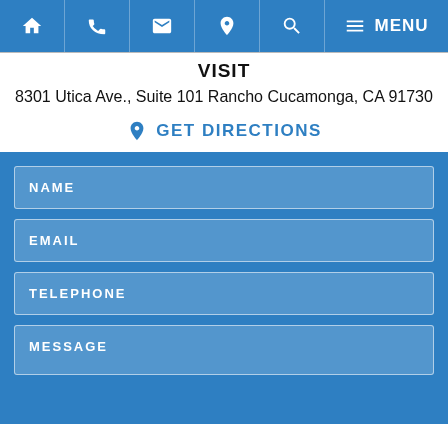Home | Phone | Email | Location | Search | MENU
VISIT
8301 Utica Ave., Suite 101 Rancho Cucamonga, CA 91730
GET DIRECTIONS
NAME
EMAIL
TELEPHONE
MESSAGE